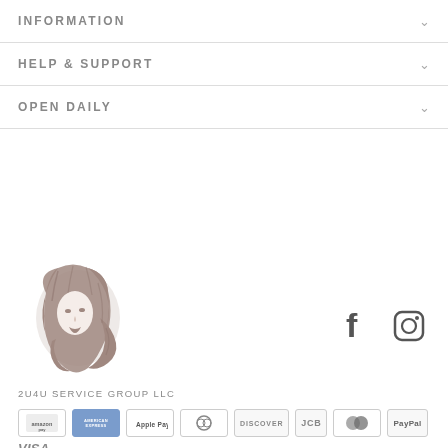INFORMATION
HELP & SUPPORT
OPEN DAILY
[Figure (logo): Line art illustration of a woman with flowing hair, in dusty rose/mauve color]
[Figure (logo): Facebook and Instagram social media icons]
2U4U SERVICE GROUP LLC
[Figure (infographic): Payment method icons: Amazon Pay, American Express, Apple Pay, Diners Club, Discover, JCB, Mastercard, PayPal, Visa]